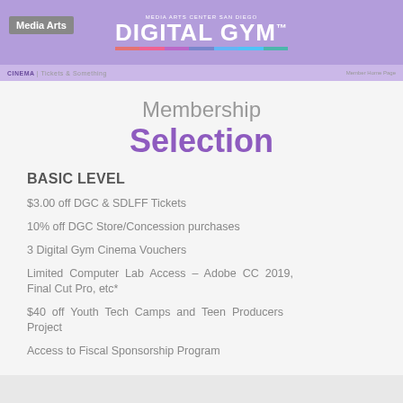Media Arts | MEDIA ARTS CENTER SAN DIEGO DIGITAL GYM
CINEMA | Tickets & Something
Membership Selection
BASIC LEVEL
$3.00 off DGC & SDLFF Tickets
10% off DGC Store/Concession purchases
3 Digital Gym Cinema Vouchers
Limited Computer Lab Access – Adobe CC 2019, Final Cut Pro, etc*
$40 off Youth Tech Camps and Teen Producers Project
Access to Fiscal Sponsorship Program